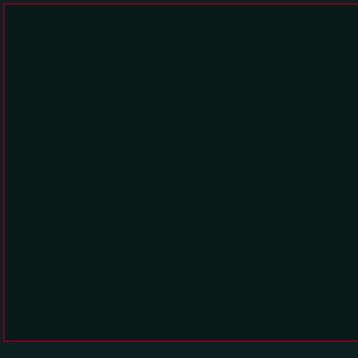| Artist | Album | Track | Year |  |
| --- | --- | --- | --- | --- |
| Dowling, Ben | The Path of Peace | Exploration | 2006 | Vi... |
| Dowling, Ben | The Path of Peace | Awakening | 2006 | Vi... |
| Dowling, Ben | The Path of Peace | Emergence | 2006 | Vi... |
| Einaudi, Ludovico | Le onde | le onde | 1996 |  |
| Einaudi, Ludovico | Le onde | Ombre | 1996 |  |
| Einaudi, Ludovico | Le onde | lontano | 1996 |  |
| Einaudi, Ludovico | Luce dei miei occhi | Luce dei miei occhi | 2001 | Vi... |
| Einaudi, Ludovico | Eden Roc | Fuori Dalle Notte | 1999 |  |
| Einaudi, Ludovico | Eden Roc | Due Tramonti | 1999 |  |
| Einaudi, Ludovico | Eden Roc | Giorni Dispari | 1999 |  |
| Farish, Ryan | Beautiful | Beautiful | 2004 | N... |
[Figure (photo): A film strip or similar diagonal striped black and white image, bordered by magenta/purple border]